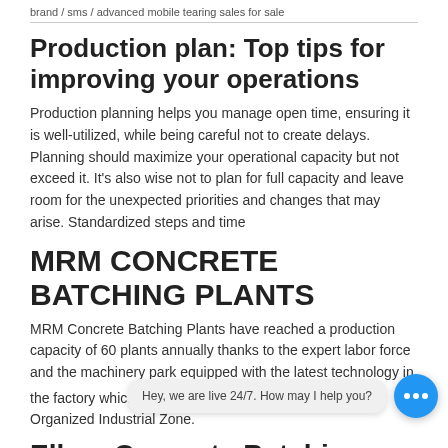brand / sms / advanced mobile tearing sales for sale
Production plan: Top tips for improving your operations
Production planning helps you manage open time, ensuring it is well-utilized, while being careful not to create delays. Planning should maximize your operational capacity but not exceed it. It's also wise not to plan for full capacity and leave room for the unexpected priorities and changes that may arise. Standardized steps and time
MRM CONCRETE BATCHING PLANTS
MRM Concrete Batching Plants have reached a production capacity of 60 plants annually thanks to the expert labor force and the machinery park equipped with the latest technology in the factory which has 12.000 m² closed areas in Baskent Organized Industrial Zone.
Elkon Concrete Batching Plant |Production Capacity High...